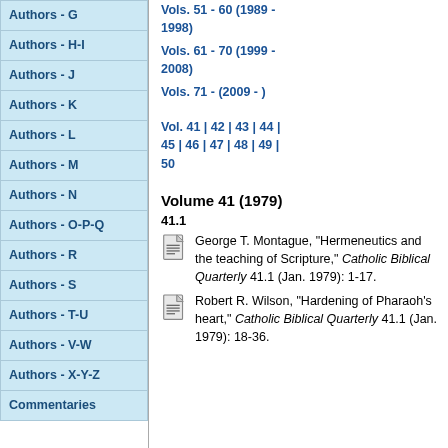Authors - G
Authors - H-I
Authors - J
Authors - K
Authors - L
Authors - M
Authors - N
Authors - O-P-Q
Authors - R
Authors - S
Authors - T-U
Authors - V-W
Authors - X-Y-Z
Commentaries
Vols. 51 - 60 (1989 - 1998)
Vols. 61 - 70 (1999 - 2008)
Vols. 71 - (2009 - )
Vol. 41 | 42 | 43 | 44 | 45 | 46 | 47 | 48 | 49 | 50
Volume 41 (1979)
41.1
George T. Montague, "Hermeneutics and the teaching of Scripture," Catholic Biblical Quarterly 41.1 (Jan. 1979): 1-17.
Robert R. Wilson, "Hardening of Pharaoh's heart," Catholic Biblical Quarterly 41.1 (Jan. 1979): 18-36.